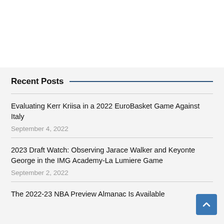Recent Posts
Evaluating Kerr Kriisa in a 2022 EuroBasket Game Against Italy
September 4, 2022
2023 Draft Watch: Observing Jarace Walker and Keyonte George in the IMG Academy-La Lumiere Game
September 2, 2022
The 2022-23 NBA Preview Almanac Is Available